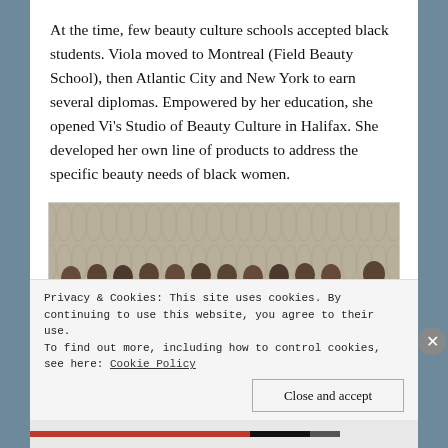At the time, few beauty culture schools accepted black students. Viola moved to Montreal (Field Beauty School), then Atlantic City and New York to earn several diplomas. Empowered by her education, she opened Vi's Studio of Beauty Culture in Halifax. She developed her own line of products to address the specific beauty needs of black women.
[Figure (photo): Black and white group photo of approximately 12 women standing in a row, all wearing white uniforms or white clothing, posed in front of a decorative curtain backdrop.]
Privacy & Cookies: This site uses cookies. By continuing to use this website, you agree to their use. To find out more, including how to control cookies, see here: Cookie Policy
Close and accept